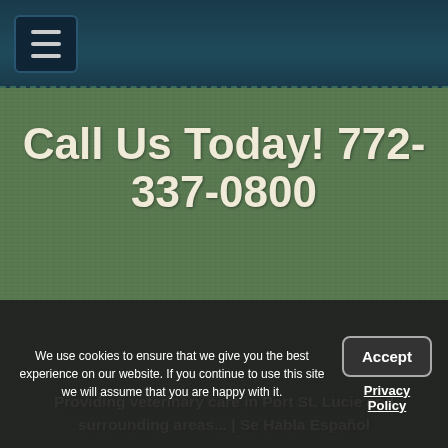Navigation menu button (hamburger icon)
Call Us Today! 772-337-0800
Providing veterinary care in Port St. Lucie and surrounding areas... | Se Habla Español
Do Chinchillas Make Good
We use cookies to ensure that we give you the best experience on our website. If you continue to use this site we will assume that you are happy with it.